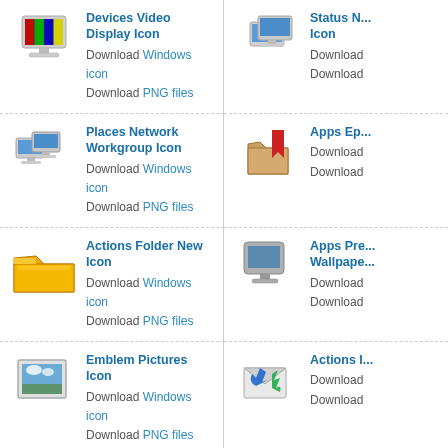Devices Video Display Icon
Download Windows icon
Download PNG files
Status N... Icon
Download
Download
Places Network Workgroup Icon
Download Windows icon
Download PNG files
Apps Ep...
Download
Download
Actions Folder New Icon
Download Windows icon
Download PNG files
Apps Pre... Wallpape...
Download
Download
Emblem Pictures Icon
Download Windows icon
Download PNG files
Actions I...
Download
Download
Devices Media Floppy Icon
Download Windows icon
Download PNG files
Emblem...
Download
Download
Categories Applications Development Icon
Download Windows icon
Download PNG files
Status N...
Download
Download